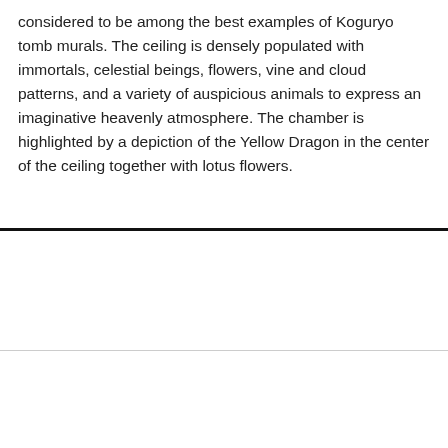considered to be among the best examples of Koguryo tomb murals. The ceiling is densely populated with immortals, celestial beings, flowers, vine and cloud patterns, and a variety of auspicious animals to express an imaginative heavenly atmosphere. The chamber is highlighted by a depiction of the Yellow Dragon in the center of the ceiling together with lotus flowers.
1  Paintings of the Four Spirits
2  Ceiling Mural No. 1